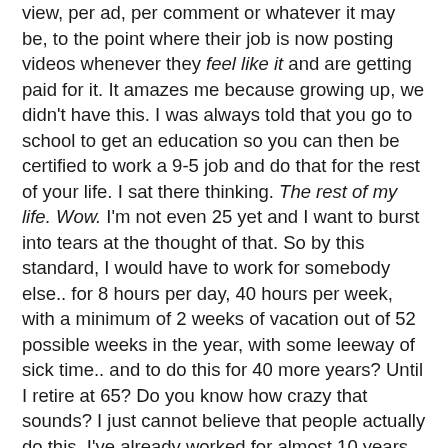view, per ad, per comment or whatever it may be, to the point where their job is now posting videos whenever they feel like it and are getting paid for it. It amazes me because growing up, we didn't have this. I was always told that you go to school to get an education so you can then be certified to work a 9-5 job and do that for the rest of your life. I sat there thinking. The rest of my life. Wow. I'm not even 25 yet and I want to burst into tears at the thought of that. So by this standard, I would have to work for somebody else.. for 8 hours per day, 40 hours per week, with a minimum of 2 weeks of vacation out of 52 possible weeks in the year, with some leeway of sick time.. and to do this for 40 more years? Until I retire at 65? Do you know how crazy that sounds? I just cannot believe that people actually do this. I've already worked for almost 10 years of my life and I already can't wait to retire.
What bothers me the most about having a job is the fact that I have a boss. By boss, I mean somebody who can just pick me up and put me wherever they please and I have to do it because that's what they're paying me to do. I use to not care but it's really starting to bother me more and more. The